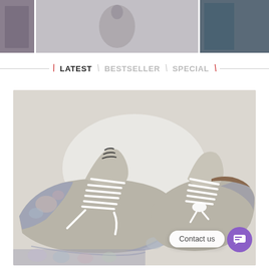[Figure (photo): Top strip of three fashion/clothing images: a narrow dark image on the left, a large center image showing a blurry walking figure in light gray tones, and a right image showing a person in teal/dark clothing.]
LATEST   BESTSELLER   SPECIAL
[Figure (photo): Close-up photograph of a pair of taupe/beige leather lace-up sneakers with floral fabric details on the sides and toe, featuring white laces, displayed from above on a white background.]
Contact us